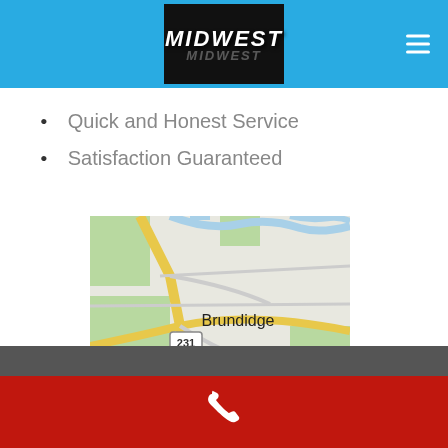MIDWEST
Quick and Honest Service
Satisfaction Guaranteed
[Figure (map): Google Maps showing Brundidge area with route 231 and Lily Hill Bap label visible]
Footer with phone icon on red bar